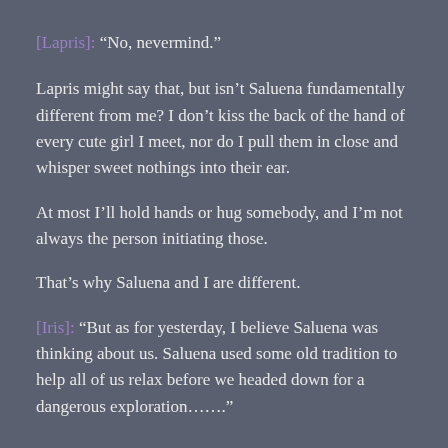[Lapris]: “No, nevermind.”
Lapris might say that, but isn’t Saluena fundamentally different from me? I don’t kiss the back of the hand of every cute girl I meet, nor do I pull them in close and whisper sweet nothings into their ear.
At most I’ll hold hands or hug somebody, and I’m not always the person initiating those.
That’s why Saluena and I are different.
[Iris]: “But as for yesterday, I believe Saluena was thinking about us. Saluena used some old tradition to help all of us relax before we headed down for a dangerous exploration…….”